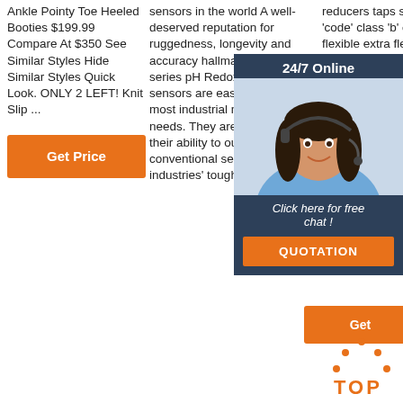Ankle Pointy Toe Heeled Booties $199.99 Compare At $350 See Similar Styles Hide Similar Styles Quick Look. ONLY 2 LEFT! Knit Slip ...
sensors in the world A well-deserved reputation for ruggedness, longevity and accuracy hallmark the TB(X)5 series pH Redox sensors. The sensors are easily applied to most industrial measurement needs. They are renowned for their ability to outperform conventional sensors in the industries' toughest process
reducers taps stranded 'code' class 'b' cable flexible extra flex accepts code and flex ca... 4/0 alu... hole ya... 9 - c14 tongue narrow... two ho... c50 tw... 2l, ya-2...
[Figure (infographic): 24/7 Online chat overlay with smiling agent wearing headset, dark blue background, orange QUOTATION button]
Get Price
Get
[Figure (other): Orange dotted arc TOP button/icon for scroll to top]